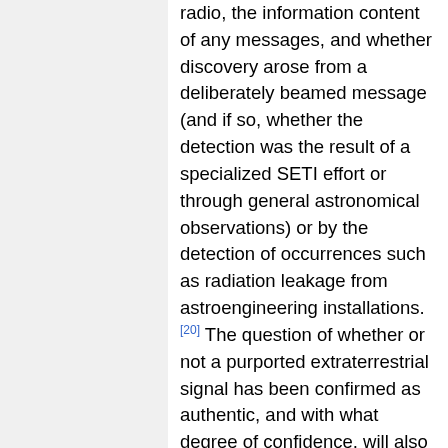radio, the information content of any messages, and whether discovery arose from a deliberately beamed message (and if so, whether the detection was the result of a specialized SETI effort or through general astronomical observations) or by the detection of occurrences such as radiation leakage from astroengineering installations.[20] The question of whether or not a purported extraterrestrial signal has been confirmed as authentic, and with what degree of confidence, will also influence the impact of the contact.[20] The Rio Scale was modified in 2011 to include a consideration of whether contact was achieved through an interstellar message or through a physical extraterrestrial artifact, with a suggestion that the definition of artifact